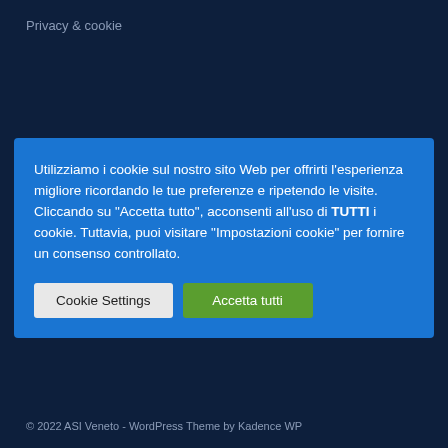Privacy & cookie
Utilizziamo i cookie sul nostro sito Web per offrirti l'esperienza migliore ricordando le tue preferenze e ripetendo le visite. Cliccando su "Accetta tutto", acconsenti all'uso di TUTTI i cookie. Tuttavia, puoi visitare "Impostazioni cookie" per fornire un consenso controllato.
© 2022 ASI Veneto - WordPress Theme by Kadence WP